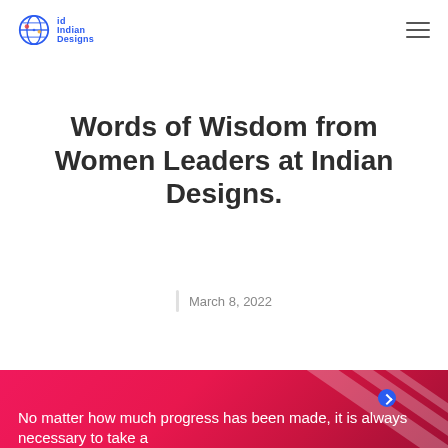Indian Designs
Words of Wisdom from Women Leaders at Indian Designs.
March 8, 2022
No matter how much progress has been made, it is always necessary to take a